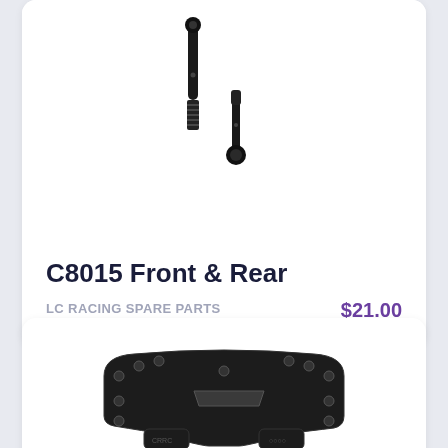[Figure (photo): Product photo of C8015 Front & Rear drive shafts/axles for LC Racing, black metal parts on white background]
C8015 Front & Rear
LC RACING SPARE PARTS
$21.00
[Figure (photo): Product photo of a black metal shock tower/plate with multiple mounting holes, along with small hardware pieces, on white background]